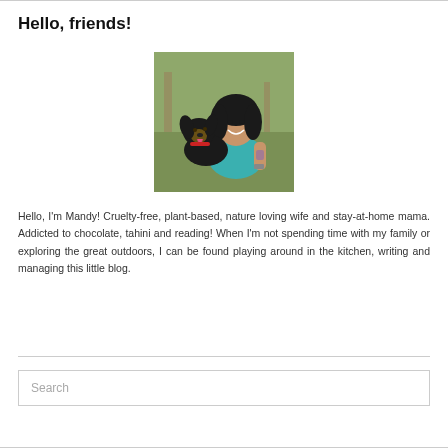Hello, friends!
[Figure (photo): A smiling woman with curly dark hair wearing a teal sleeveless top with a tattoo on her arm, holding a black and tan dog outdoors in a natural setting.]
Hello, I'm Mandy! Cruelty-free, plant-based, nature loving wife and stay-at-home mama. Addicted to chocolate, tahini and reading! When I'm not spending time with my family or exploring the great outdoors, I can be found playing around in the kitchen, writing and managing this little blog.
Search